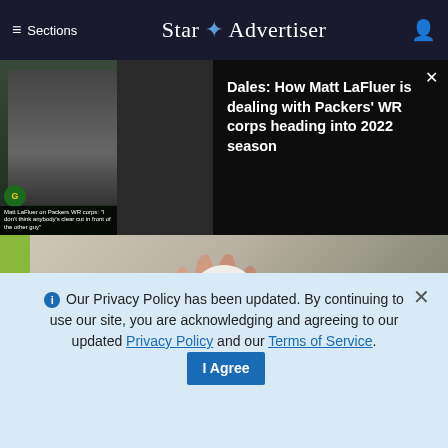≡ Sections  Star ✦ Advertiser
Dales: How Matt LaFluer is dealing with Packers' WR corps heading into 2022 season
[Figure (screenshot): Video thumbnail showing two news anchors on left, with text overlay of Matt LaFluer quote about Packers WR corps]
[Figure (photo): A hand holding a small white Wi-Fi security camera with LED ring, photographed against a blurred background]
ⓘ Our Privacy Policy has been updated. By continuing to use our site, you are acknowledging and agreeing to our updated Privacy Policy and our Terms of Service. I Agree